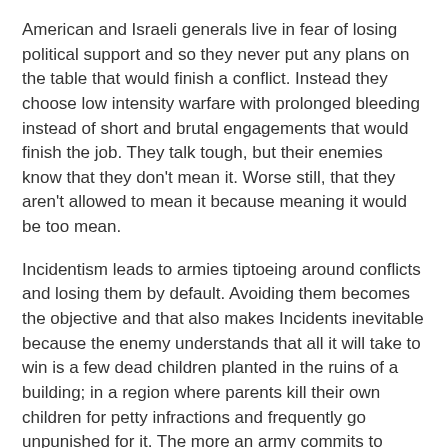American and Israeli generals live in fear of losing political support and so they never put any plans on the table that would finish a conflict. Instead they choose low intensity warfare with prolonged bleeding instead of short and brutal engagements that would finish the job. They talk tough, but their enemies know that they don't mean it. Worse still, that they aren't allowed to mean it because meaning it would be too mean.
Incidentism leads to armies tiptoeing around conflicts and losing them by default. Avoiding them becomes the objective and that also makes Incidents inevitable because the enemy understands that all it will take to win is a few dead children planted in the ruins of a building; in a region where parents kill their own children for petty infractions and frequently go unpunished for it. The more an army commits to Incidentism, the sooner its war is lost. Prolonged low intensity conflicts are ripe with opportunities for Incidents, far more so that hot and rapid wars. And so the hearts and minds, those of the locals and those of New York Times readers, always end up being lost anyway.